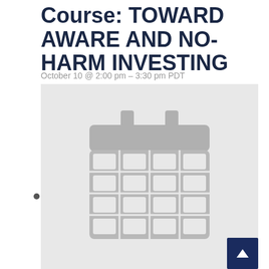Course: TOWARD AWARE AND NO-HARM INVESTING
October 10 @ 2:00 pm – 3:30 pm PDT
[Figure (illustration): Calendar icon placeholder image on light grey background with a dark navy back-to-top arrow button in the bottom right corner]